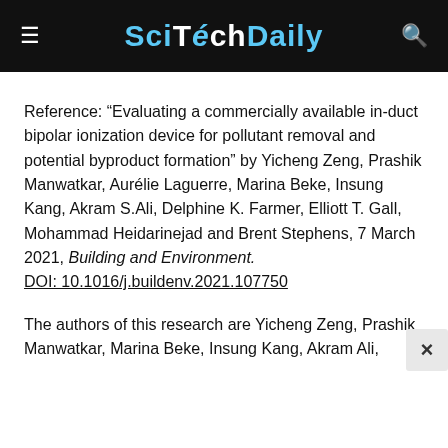SciTechDaily
Reference: “Evaluating a commercially available in-duct bipolar ionization device for pollutant removal and potential byproduct formation” by Yicheng Zeng, Prashik Manwatkar, Aurélie Laguerre, Marina Beke, Insung Kang, Akram S.Ali, Delphine K. Farmer, Elliott T. Gall, Mohammad Heidarinejad and Brent Stephens, 7 March 2021, Building and Environment.
DOI: 10.1016/j.buildenv.2021.107750
The authors of this research are Yicheng Zeng, Prashik Manwatkar, Marina Beke, Insung Kang, Akram Ali,